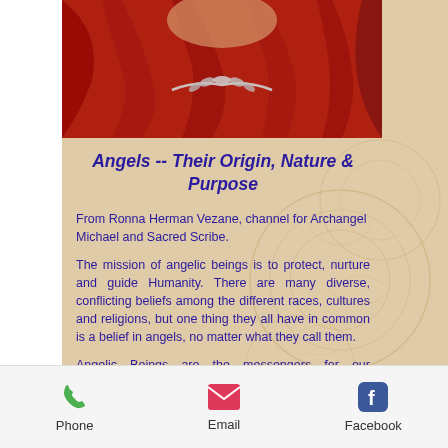[Figure (photo): Photo of a woman in red outfit with silver necklace against red background]
Angels -- Their Origin, Nature & Purpose
From Ronna Herman Vezane, channel for Archangel Michael and Sacred Scribe.
The mission of angelic beings is to protect, nurture and guide Humanity. There are many diverse, conflicting beliefs among the different races, cultures and religions, but one thing they all have in common is a belief in angels, no matter what they call them.
Angelic Beings are the messengers for our Father/Mother God, and they act as intermediaries between the God Head,
Phone  Email  Facebook